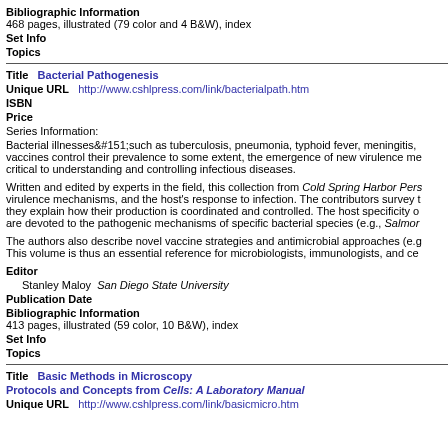Bibliographic Information
468 pages, illustrated (79 color and 4 B&W), index
Set Info
Topics
Title   Bacterial Pathogenesis
Unique URL   http://www.cshlpress.com/link/bacterialpath.htm
ISBN
Price
Series Information:
Bacterial illnesses—such as tuberculosis, pneumonia, typhoid fever, meningitis, vaccines control their prevalence to some extent, the emergence of new virulence me critical to understanding and controlling infectious diseases.
Written and edited by experts in the field, this collection from Cold Spring Harbor Pers virulence mechanisms, and the host's response to infection. The contributors survey t they explain how their production is coordinated and controlled. The host specificity o are devoted to the pathogenic mechanisms of specific bacterial species (e.g., Salmor
The authors also describe novel vaccine strategies and antimicrobial approaches (e.g This volume is thus an essential reference for microbiologists, immunologists, and ce
Editor
Stanley Maloy  San Diego State University
Publication Date
Bibliographic Information
413 pages, illustrated (59 color, 10 B&W), index
Set Info
Topics
Title   Basic Methods in Microscopy
Protocols and Concepts from Cells: A Laboratory Manual
Unique URL   http://www.cshlpress.com/link/basicmicro.htm